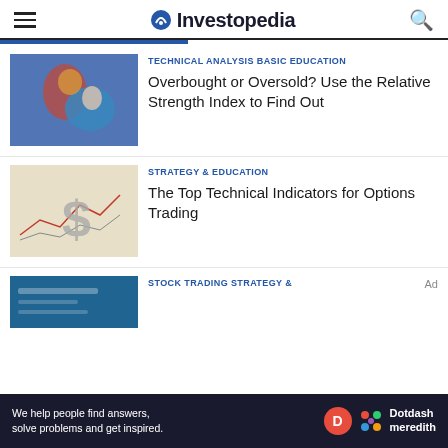Investopedia
[Figure (photo): Two wrestlers competing, one in red and one in blue uniform]
TECHNICAL ANALYSIS BASIC EDUCATION
Overbought or Oversold? Use the Relative Strength Index to Find Out
[Figure (photo): Dollar sign with stock chart in background]
STRATEGY & EDUCATION
The Top Technical Indicators for Options Trading
[Figure (photo): Blue stock trading interface screenshot]
STOCK TRADING STRATEGY &
Ad
We help people find answers, solve problems and get inspired. Dotdash meredith